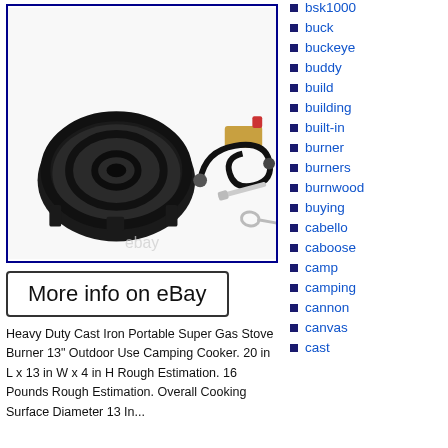[Figure (photo): Product photo of a Heavy Duty Cast Iron Portable Super Gas Stove Burner with regulator hose and tools, shown inside a blue-bordered box. eBay watermark visible at bottom.]
More info on eBay
Heavy Duty Cast Iron Portable Super Gas Stove Burner 13" Outdoor Use Camping Cooker. 20 in L x 13 in W x 4 in H Rough Estimation. 16 Pounds Rough Estimation. Overall Cooking Surface Diameter 13 In...
bsk1000
buck
buckeye
buddy
build
building
built-in
burner
burners
burnwood
buying
cabello
caboose
camp
camping
cannon
canvas
cast